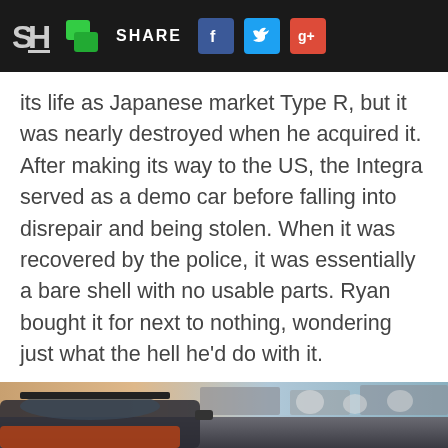SH | [share icon] SHARE [Facebook] [Twitter] [Google+]
its life as Japanese market Type R, but it was nearly destroyed when he acquired it. After making its way to the US, the Integra served as a demo car before falling into disrepair and being stolen. When it was recovered by the police, it was essentially a bare shell with no usable parts. Ryan bought it for next to nothing, wondering just what the hell he'd do with it.
[Figure (photo): Close-up photo of the rear of a sports car (Honda Integra) on a racetrack, with blurred grandstand structures visible in the background. The car appears orange/red with a visible rear spoiler and side mirror.]